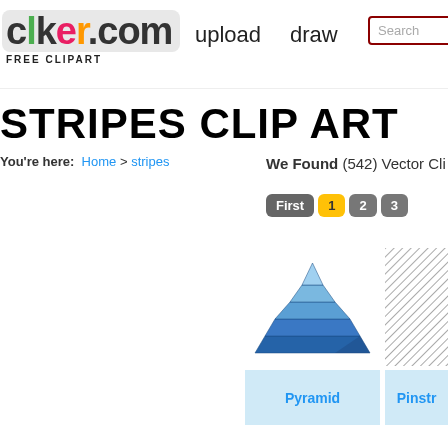[Figure (screenshot): Clker.com website header with logo, upload, draw navigation and search box]
STRIPES CLIP ART
You're here: Home > stripes
We Found (542) Vector Cli...
Pagination: First | 1 | 2 | 3
[Figure (illustration): Blue striped pyramid clipart thumbnail]
Pyramid
[Figure (illustration): Pinstripe pattern thumbnail (diagonal hatched lines)]
Pinstr...